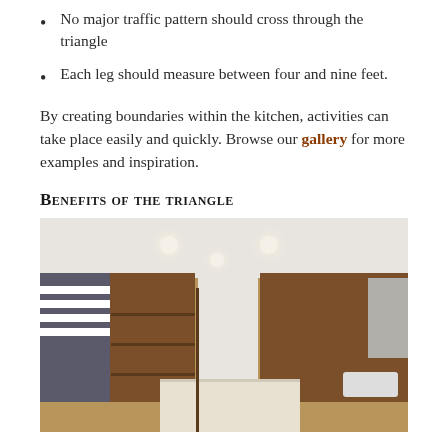No major traffic pattern should cross through the triangle
Each leg should measure between four and nine feet.
By creating boundaries within the kitchen, activities can take place easily and quickly. Browse our gallery for more examples and inspiration.
Benefits of the triangle
[Figure (photo): Interior photo of a kitchen with warm wood cabinetry, a kitchen island with marble countertop, recessed lighting, built-in shelving, and a staircase visible on the left side.]